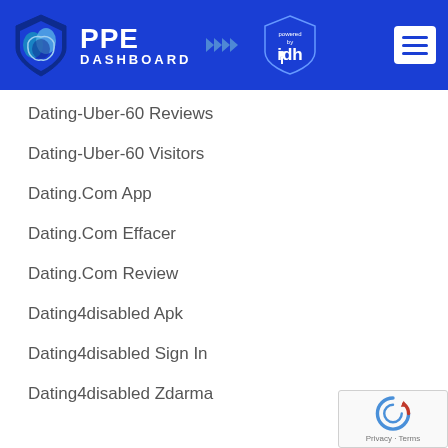[Figure (logo): PPE Dashboard powered by IDH logo with shield icon on blue header background, with hamburger menu button]
Dating-Uber-60 Reviews
Dating-Uber-60 Visitors
Dating.Com App
Dating.Com Effacer
Dating.Com Review
Dating4disabled Apk
Dating4disabled Sign In
Dating4disabled Zdarma